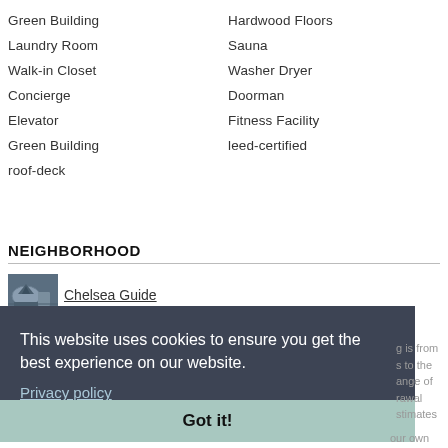Green Building
Hardwood Floors
Laundry Room
Sauna
Walk-in Closet
Washer Dryer
Concierge
Doorman
Elevator
Fitness Facility
Green Building
leed-certified
roof-deck
NEIGHBORHOOD
[Figure (photo): Small thumbnail photo of Chelsea neighborhood]
Chelsea Guide
This website uses cookies to ensure you get the best experience on our website.
Privacy policy
Got it!